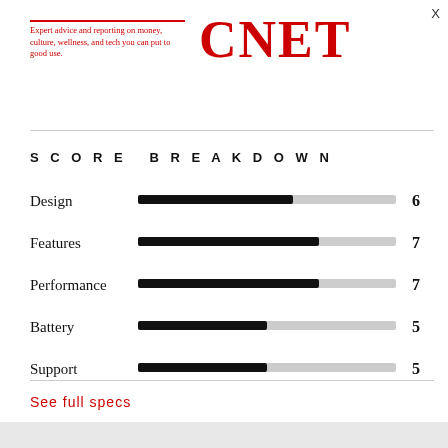[Figure (logo): CNET logo with tagline: Expert advice and reporting on money, culture, wellness, and tech you can put to good use.]
SCORE BREAKDOWN
[Figure (bar-chart): Score Breakdown]
See full specs